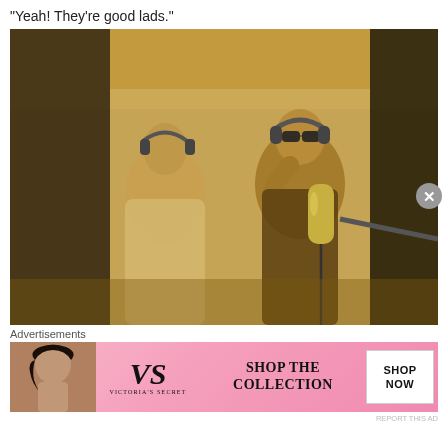“Yeah! They’re good lads.”
[Figure (photo): Sepia-toned photo of two young men in a recording studio. The man on the left wears headphones and a light sweater. The man on the right wears sunglasses and headphones and stands at a studio microphone. A draped fabric hangs in the background.]
Advertisements
[Figure (photo): Victoria's Secret advertisement banner with pink gradient background. Shows a woman's photo on the left, Victoria's Secret VS logo in the center, 'SHOP THE COLLECTION' text, and a white 'SHOP NOW' button on the right.]